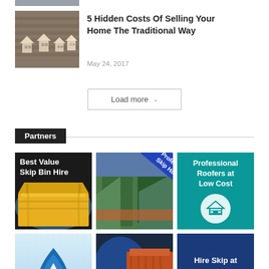[Figure (photo): Partial cropped image at top of page (person in blue shirt)]
[Figure (photo): Thumbnail image of wooden house figurines on a wooden surface]
5 Hidden Costs Of Selling Your Home The Traditional Way
May 24, 2017
Load more
Partners
[Figure (photo): Best Value Skip Bin Hire - yellow skip bin]
[Figure (photo): Professional Skip Hire UK - green skip bins with blue banner]
[Figure (illustration): Professional Roofers at Low Cost - teal background with roof icon]
[Figure (logo): Blue water drop logo on light blue background]
[Figure (photo): Professional - orange and blue skip container]
[Figure (illustration): Hire Skip at Affordable Prices - dark blue background with white text]